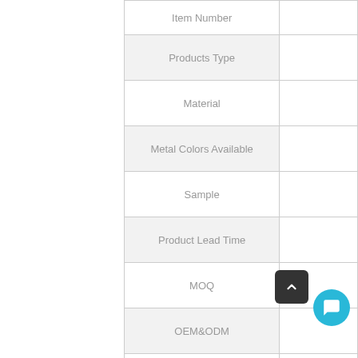| Label | Value |
| --- | --- |
| Item Number |  |
| Products Type |  |
| Material |  |
| Metal Colors Available |  |
| Sample |  |
| Product Lead Time |  |
| MOQ |  |
| OEM&ODM |  |
| Shipping Way |  |
| Payment |  |
|  |  |